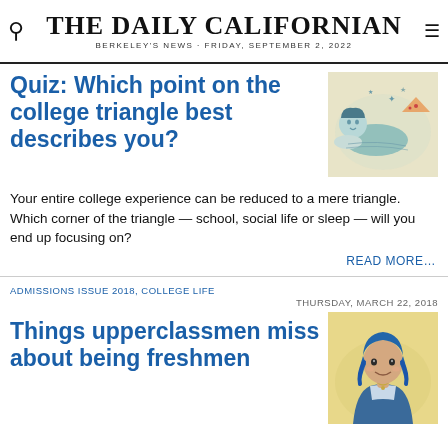THE DAILY CALIFORNIAN
BERKELEY'S NEWS · FRIDAY, SEPTEMBER 2, 2022
Quiz: Which point on the college triangle best describes you?
[Figure (illustration): Sketch illustration of a person lying down with pizza and stars around them, teal/blue tones on yellow-beige background]
Your entire college experience can be reduced to a mere triangle. Which corner of the triangle — school, social life or sleep — will you end up focusing on?
READ MORE…
ADMISSIONS ISSUE 2018, COLLEGE LIFE
THURSDAY, MARCH 22, 2018
Things upperclassmen miss about being freshmen
[Figure (illustration): Illustration of a young woman with blue hair smiling, wearing a blue jacket, on a yellow-beige background]